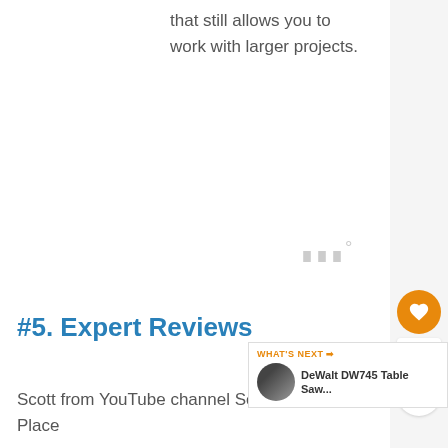that still allows you to work with larger projects.
#5. Expert Reviews
Scott from YouTube channel Scott's Place